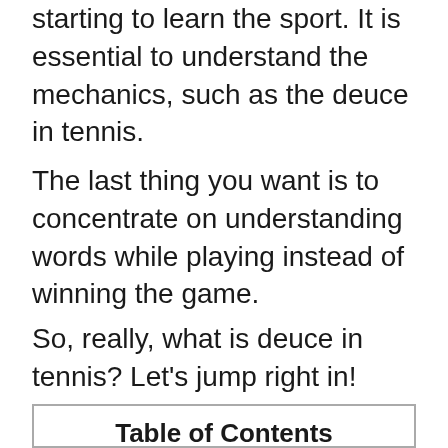starting to learn the sport. It is essential to understand the mechanics, such as the deuce in tennis.
The last thing you want is to concentrate on understanding words while playing instead of winning the game.
So, really, what is deuce in tennis? Let's jump right in!
Table of Contents